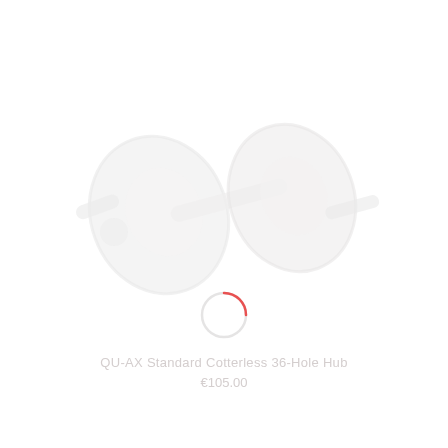[Figure (photo): A very faint, washed-out product photo of a unicycle hub (QU-AX Standard Cotterless 36-Hole Hub) shown diagonally. The hub has two flanges on either side of an axle. Below the hub is a small loading spinner icon — a circle outline with a red arc segment indicating loading. The image is extremely light/ghosted against a white background.]
QU-AX Standard Cotterless 36-Hole Hub
€105.00